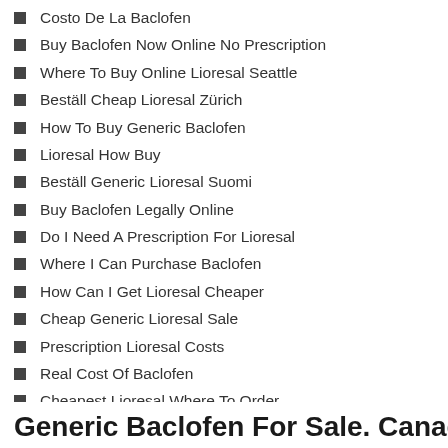Costo De La Baclofen
Buy Baclofen Now Online No Prescription
Where To Buy Online Lioresal Seattle
Beställ Cheap Lioresal Zürich
How To Buy Generic Baclofen
Lioresal How Buy
Beställ Generic Lioresal Suomi
Buy Baclofen Legally Online
Do I Need A Prescription For Lioresal
Where I Can Purchase Baclofen
How Can I Get Lioresal Cheaper
Cheap Generic Lioresal Sale
Prescription Lioresal Costs
Real Cost Of Baclofen
Cheapest Lioresal Where To Order
Köp Cheap Lioresal Boston
Generic Baclofen For Sale. Canada Dr